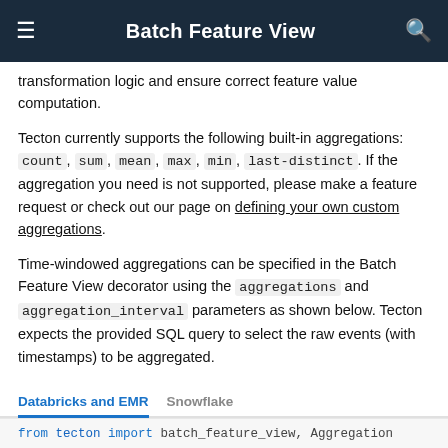Batch Feature View
transformation logic and ensure correct feature value computation.
Tecton currently supports the following built-in aggregations: count, sum, mean, max, min, last-distinct. If the aggregation you need is not supported, please make a feature request or check out our page on defining your own custom aggregations.
Time-windowed aggregations can be specified in the Batch Feature View decorator using the aggregations and aggregation_interval parameters as shown below. Tecton expects the provided SQL query to select the raw events (with timestamps) to be aggregated.
Databricks and EMR    Snowflake
from tecton import batch_feature_view, Aggregation